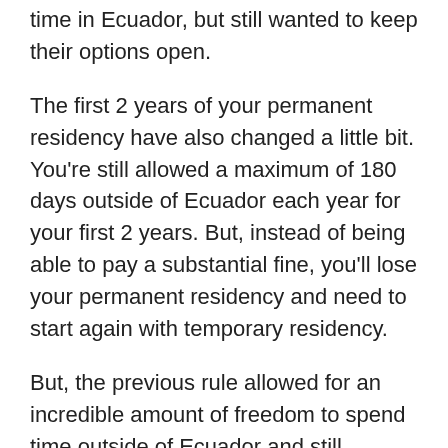time in Ecuador, but still wanted to keep their options open.
The first 2 years of your permanent residency have also changed a little bit. You're still allowed a maximum of 180 days outside of Ecuador each year for your first 2 years. But, instead of being able to pay a substantial fine, you'll lose your permanent residency and need to start again with temporary residency.
But, the previous rule allowed for an incredible amount of freedom to spend time outside of Ecuador and still maintain your permanent resident status. You could basically just fly into Ecuador for 1 day, then fly out and then keep your permanent